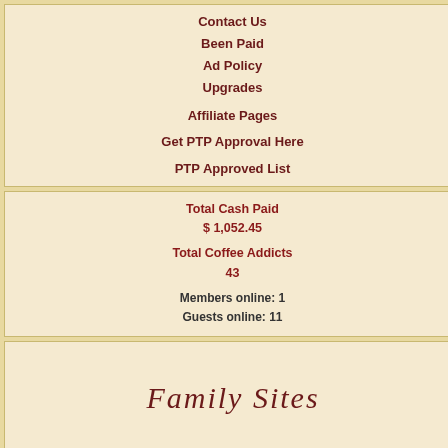Contact Us
Been Paid
Ad Policy
Upgrades
Affiliate Pages
Get PTP Approval Here
PTP Approved List
Total Cash Paid
$ 1,052.45

Total Coffee Addicts
43

Members online: 1
Guests online: 11
[Figure (illustration): Family Sites script/cursive logo text]
Be the first of your friends to follow Coffee Club Emails.
| Showing a... | T |
| --- | --- |
| Website | T |
| awesomeemails4u.com |  |
| area-51-emails.com |  |
| aquamails.com |  |
| anything-goes.info |  |
| angelemails.com |  |
| aligator-cash.com |  |
| aftermidnightmails.info |  |
| africanptr.com |  |
CUSTOMER
Monday - Friday 10:00
Satu
Customer Se
email: madame
All Rights Reserved
A Part Of M
Hosting prov
Powered by Cash Cr